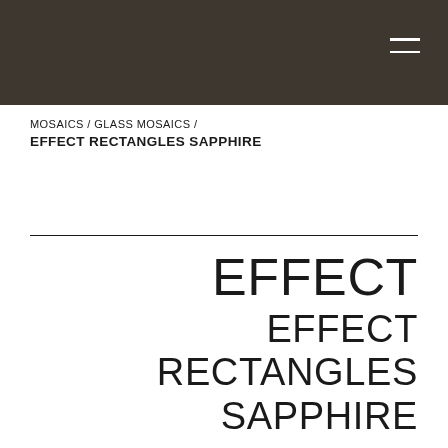MOSAICS / GLASS MOSAICS /
EFFECT RECTANGLES SAPPHIRE
EFFECT
EFFECT RECTANGLES
SAPPHIRE